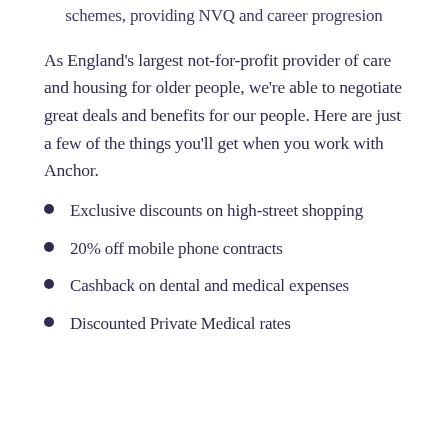schemes, providing NVQ and career progresion
As England's largest not-for-profit provider of care and housing for older people, we're able to negotiate great deals and benefits for our people. Here are just a few of the things you'll get when you work with Anchor.
Exclusive discounts on high-street shopping
20% off mobile phone contracts
Cashback on dental and medical expenses
Discounted Private Medical rates